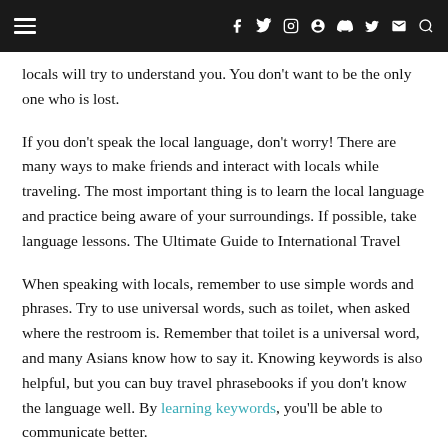[navigation bar with hamburger menu and social icons: f, twitter, instagram, pinterest, tumblr, youtube, mail, search]
locals will try to understand you. You don't want to be the only one who is lost.
If you don't speak the local language, don't worry! There are many ways to make friends and interact with locals while traveling. The most important thing is to learn the local language and practice being aware of your surroundings. If possible, take language lessons. The Ultimate Guide to International Travel
When speaking with locals, remember to use simple words and phrases. Try to use universal words, such as toilet, when asked where the restroom is. Remember that toilet is a universal word, and many Asians know how to say it. Knowing keywords is also helpful, but you can buy travel phrasebooks if you don't know the language well. By learning keywords, you'll be able to communicate better.